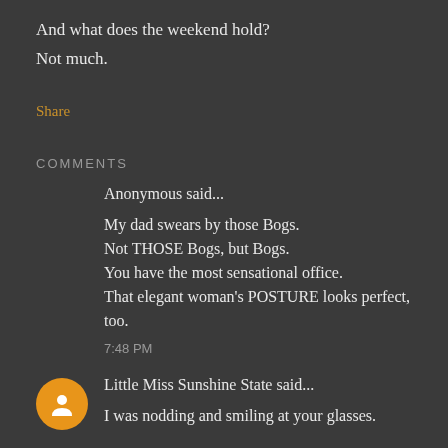And what does the weekend hold?
Not much.
Share
COMMENTS
Anonymous said...
My dad swears by those Bogs.
Not THOSE Bogs, but Bogs.
You have the most sensational office.
That elegant woman's POSTURE looks perfect, too.
7:48 PM
Little Miss Sunshine State said...
I was nodding and smiling at your glasses.